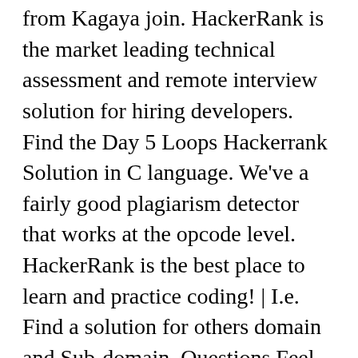from Kagaya join. HackerRank is the market leading technical assessment and remote interview solution for hiring developers. Find the Day 5 Loops Hackerrank Solution in C language. We've a fairly good plagiarism detector that works at the opcode level. HackerRank is the best place to learn and practice coding! | I.e. Find a solution for others domain and Sub-domain. Questions Feel free to choose your preferred programming language from the list of languages supported for each question. We also provide hackerrank solutions in C, C++, and Java programming language so whatever your domain we will give you an answer in your field. Hacker Rank solution for. Join over